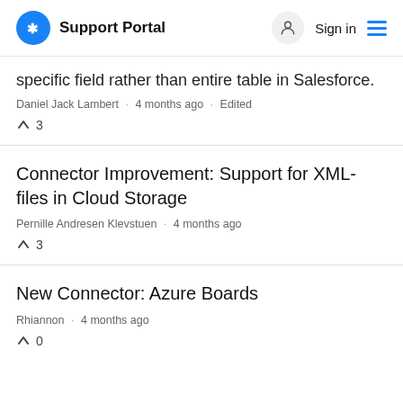Support Portal  Sign in
specific field rather than entire table in Salesforce.
Daniel Jack Lambert · 4 months ago · Edited
↑ 3
Connector Improvement: Support for XML-files in Cloud Storage
Pernille Andresen Klevstuen · 4 months ago
↑ 3
New Connector: Azure Boards
Rhiannon · 4 months ago
↑ 0